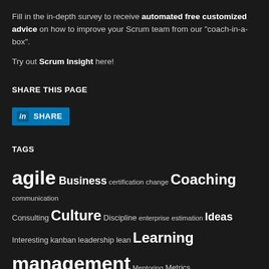Fill in the in-depth survey to receive automated free customized advice on how to improve your Scrum team from our “coach-in-a-box”.
Try out Scrum Insight here!
SHARE THIS PAGE
[Figure (other): LinkedIn Share button with blue background and 'in' logo]
TAGS
agile Business certification change Coaching communication Consulting Culture Discipline enterprise estimation Ideas Interesting kanban leadership lean Learning management Mentoring Metrics OpenAgile organization Philosophy Planning Process product product backlog productivity